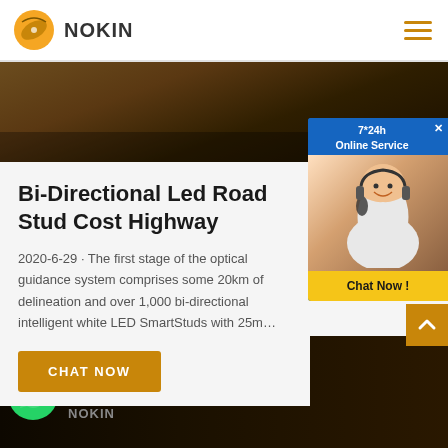NOKIN
[Figure (photo): Dark brown textured surface hero banner image]
Bi-Directional Led Road Stud Cost Highway
2020-6-29 · The first stage of the optical guidance system comprises some 20km of delineation and over 1,000 bi-directional intelligent white LED SmartStuds with 25m...
CHAT NOW
[Figure (photo): 7*24h Online Service chat widget with female customer service representative and Chat Now button]
[Figure (photo): Dark background bottom section with date 27, WhatsApp icon, and NOKIN logo text]